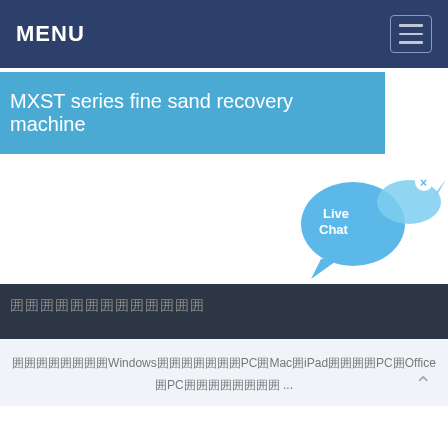MENU
MXST series fine sand recovery machine
[Figure (illustration): Live Chat speech bubble icon with a smaller fish-like blue shape and an X close button]
囲囲囲囲囲囲囲囲囲囲囲囲囲
囲囲囲囲囲囲囲囲Windowsの囲囲囲囲囲囲囲PC囲Mac囲iPad囲囲囲囲PC囲Office囲PC囲囲囲囲囲囲囲囲 ...